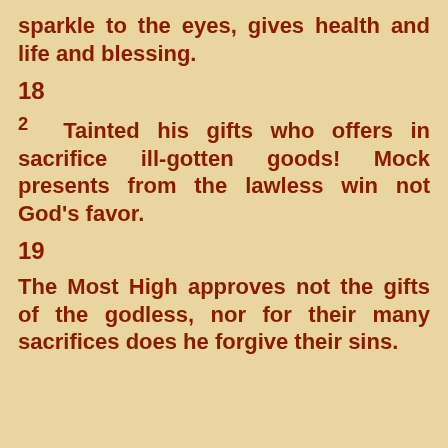sparkle to the eyes, gives health and life and blessing.
18
2 Tainted his gifts who offers in sacrifice ill-gotten goods! Mock presents from the lawless win not God's favor.
19
The Most High approves not the gifts of the godless, nor for their many sacrifices does he forgive their sins.